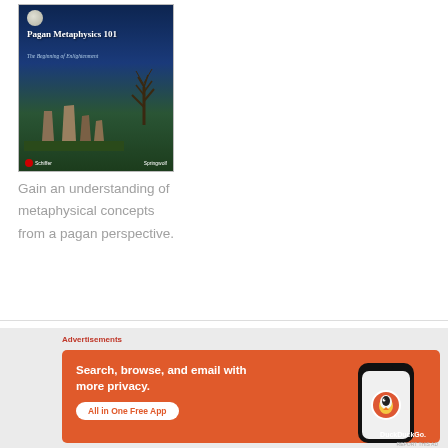[Figure (illustration): Book cover of 'Pagan Metaphysics 101: The Beginning of Enlightenment' published by Schiffer, authored by Springwolf. Dark blue night sky background with a full moon, bare tree silhouette, and standing stones/megalithic formations on a green field.]
Gain an understanding of metaphysical concepts from a pagan perspective.
[Figure (screenshot): DuckDuckGo advertisement banner with orange background. Text: 'Search, browse, and email with more privacy. All in One Free App'. Shows a smartphone with the DuckDuckGo duck logo. Label 'Advertisements' appears above the banner.]